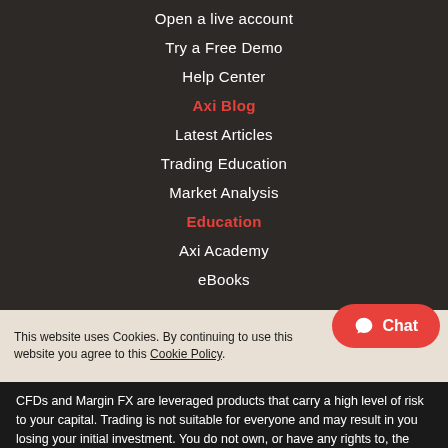Open a live account
Try a Free Demo
Help Center
Axi Blog
Latest Articles
Trading Education
Market Analysis
Education
Axi Academy
eBooks
This website uses Cookies. By continuing to use this website you agree to this Cookie Policy.
CFDs and Margin FX are leveraged products that carry a high level of risk to your capital. Trading is not suitable for everyone and may result in you losing your initial investment. You do not own, or have any rights to, the underlying assets.